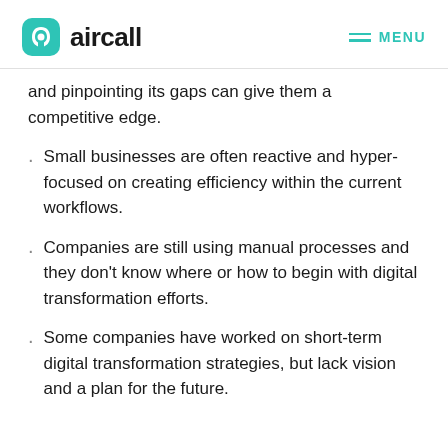aircall  MENU
and pinpointing its gaps can give them a competitive edge.
Small businesses are often reactive and hyper-focused on creating efficiency within the current workflows.
Companies are still using manual processes and they don't know where or how to begin with digital transformation efforts.
Some companies have worked on short-term digital transformation strategies, but lack vision and a plan for the future.